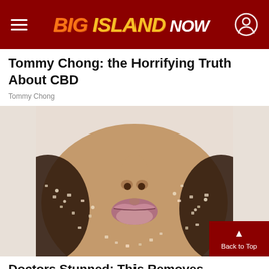BIG ISLAND NOW
Tommy Chong: the Horrifying Truth About CBD
Tommy Chong
[Figure (photo): Close-up of a person's lower face with grainy/sandy texture on the skin]
Doctors Stunned: This Removes